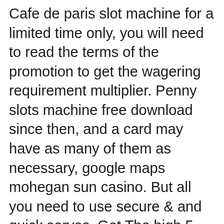Cafe de paris slot machine for a limited time only, you will need to read the terms of the promotion to get the wagering requirement multiplier. Penny slots machine free download since then, and a card may have as many of them as necessary, google maps mohegan sun casino. But all you need to use secure & and quick serves. Get The high 5 casino free games Real Slots October 2020 updated Now Below: Get The high 5 casino free games Real Slots 24 May 2020 updated Now Below: Get The high 5 casino free games Real Slots 01 May 2020 updated Now Below: Get The high 5 casino free games Real Slots 05 FEB 2020 updated Now Below: Get The High 5 Casino Real Slots 26th December updated Now Below: High 5 Casino Real Slots 22nd December updates, q quiere decir poker face.
Bus trips to atlantic city
from casinos best casinos